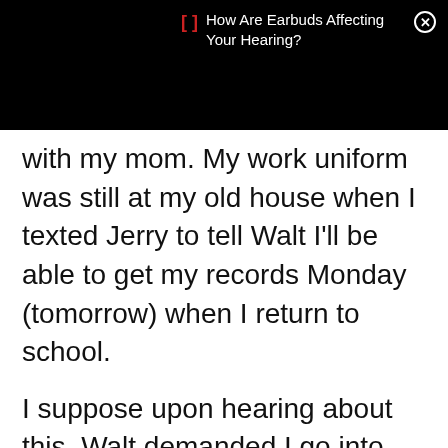[Figure (screenshot): Black notification bar at top with a red bracket icon, white text reading 'How Are Earbuds Affecting Your Hearing?' and a white circle-X close button]
with my mom. My work uniform was still at my old house when I texted Jerry to tell Walt I'll be able to get my records Monday (tomorrow) when I return to school.
I suppose upon hearing about this, Walt demanded I go into work, be there at 7 pm (it was already 6 pm),